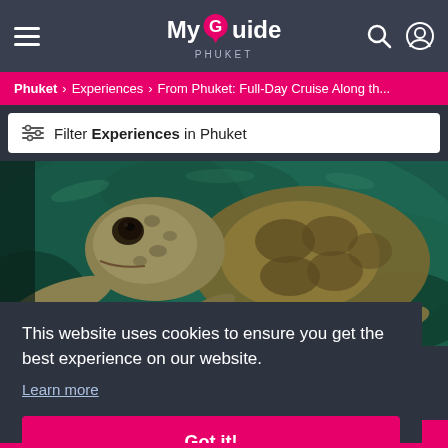My Guide PHUKET
Phuket > Experiences > From Phuket: Full-Day Cruise Along th...
Filter Experiences in Phuket
[Figure (photo): Close-up underwater photo of a sea turtle swimming, showing its head and shell with green coral reef background]
This website uses cookies to ensure you get the best experience on our website.
Learn more
Got it!